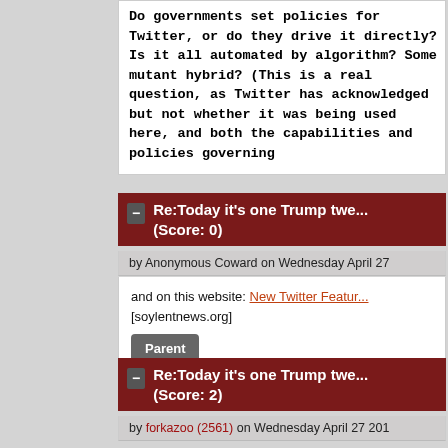Do governments set policies for Twitter, or do they drive it directly? Is it all automated by algorithm? Some mutant hybrid? (This is a real question, as Twitter has acknowledged but not whether it was being used here, and both the capabilities and policies governing
Re:Today it's one Trump twe... (Score: 0)
by Anonymous Coward on Wednesday April 27
and on this website: New Twitter Featur... [soylentnews.org]
Parent
Re:Today it's one Trump twe... (Score: 2)
by forkazoo (2561) on Wednesday April 27 201
I have a hunch that is actually not Tw... but some letter agencies